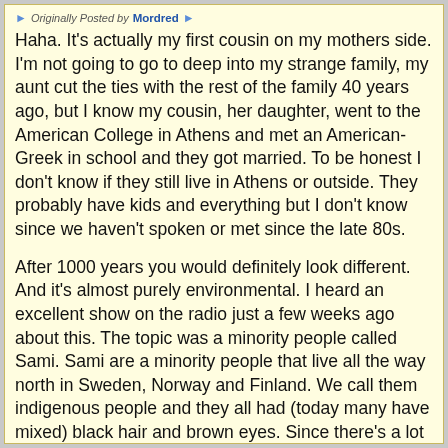Originally Posted by Mordred
Haha. It's actually my first cousin on my mothers side. I'm not going to go to deep into my strange family, my aunt cut the ties with the rest of the family 40 years ago, but I know my cousin, her daughter, went to the American College in Athens and met an American-Greek in school and they got married. To be honest I don't know if they still live in Athens or outside. They probably have kids and everything but I don't know since we haven't spoken or met since the late 80s.
After 1000 years you would definitely look different. And it's almost purely environmental. I heard an excellent show on the radio just a few weeks ago about this. The topic was a minority people called Sami. Sami are a minority people that live all the way north in Sweden, Norway and Finland. We call them indigenous people and they all had (today many have mixed) black hair and brown eyes. Since there's a lot of information you could read on Wikipedia and other sources I won't dig to deep. But the conclusion was that they ate almost only fish which has a lot of vitamin B12 so they didn't change their appearance that much. On the other hand Sami that lived much more to the south ate less fish and more animal meat and their phenotype changed to being lighter, blue eyes etc. I think there's a lot more people with better